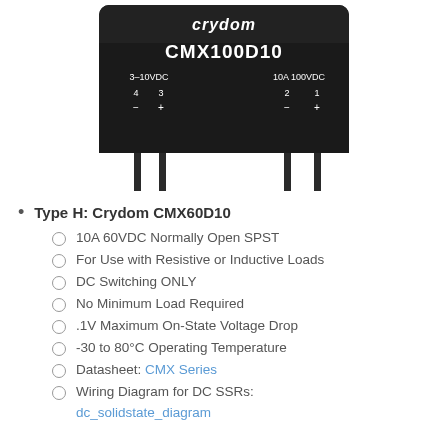[Figure (photo): Photo of a Crydom CMX100D10 solid state relay module, black rectangular component with white text showing model number, pin labels (3-10VDC, 10A 100VDC), and four metal pins at the bottom.]
Type H: Crydom CMX60D10
10A 60VDC Normally Open SPST
For Use with Resistive or Inductive Loads
DC Switching ONLY
No Minimum Load Required
.1V Maximum On-State Voltage Drop
-30 to 80°C Operating Temperature
Datasheet: CMX Series
Wiring Diagram for DC SSRs: dc_solidstate_diagram